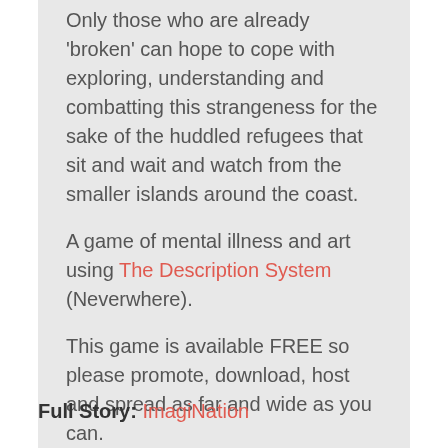Only those who are already 'broken' can hope to cope with exploring, understanding and combatting this strangeness for the sake of the huddled refugees that sit and wait and watch from the smaller islands around the coast.

A game of mental illness and art using The Description System (Neverwhere).

This game is available FREE so please promote, download, host and spread as far and wide as you can.
Full Story: ImagiNation